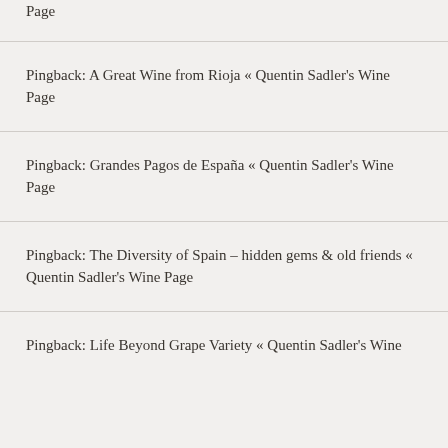Page
Pingback: A Great Wine from Rioja « Quentin Sadler's Wine Page
Pingback: Grandes Pagos de España « Quentin Sadler's Wine Page
Pingback: The Diversity of Spain – hidden gems & old friends « Quentin Sadler's Wine Page
Pingback: Life Beyond Grape Variety « Quentin Sadler's Wine